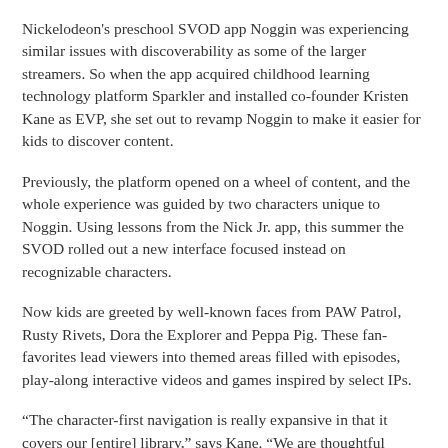Nickelodeon's preschool SVOD app Noggin was experiencing similar issues with discoverability as some of the larger streamers. So when the app acquired childhood learning technology platform Sparkler and installed co-founder Kristen Kane as EVP, she set out to revamp Noggin to make it easier for kids to discover content.
Previously, the platform opened on a wheel of content, and the whole experience was guided by two characters unique to Noggin. Using lessons from the Nick Jr. app, this summer the SVOD rolled out a new interface focused instead on recognizable characters.
Now kids are greeted by well-known faces from PAW Patrol, Rusty Rivets, Dora the Explorer and Peppa Pig. These fan-favorites lead viewers into themed areas filled with episodes, play-along interactive videos and games inspired by select IPs.
“The character-first navigation is really expansive in that it covers our [entire] library,” says Kane. “We are thoughtful